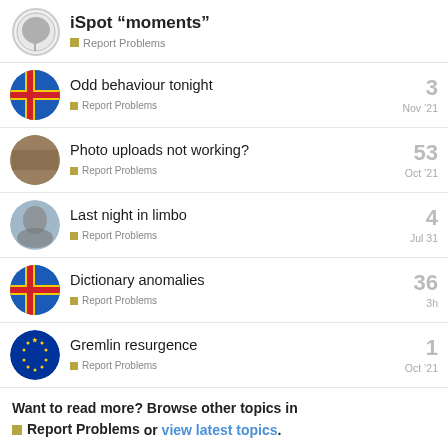iSpot “moments” — Report Problems
Odd behaviour tonight — Report Problems — Nov '21 — 3 replies
Photo uploads not working? — Report Problems — Oct '21 — 53 replies
Last night in limbo — Report Problems — Jul 31 — 4 replies
Dictionary anomalies — Report Problems — 3h — 36 replies
Gremlin resurgence — Report Problems — Oct '21 — 1 reply
Want to read more? Browse other topics in Report Problems or view latest topics.